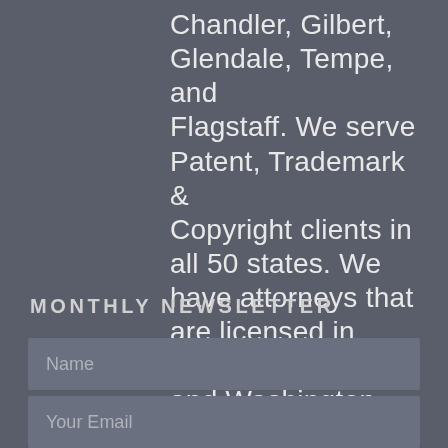Chandler, Gilbert, Glendale, Tempe, and Flagstaff. We serve Patent, Trademark & Copyright clients in all 50 states. We have attorneys that are licensed in Arizona, Alabama, and Washington D.C.
MONTHLY NEWSLETTER
Name
Your Email